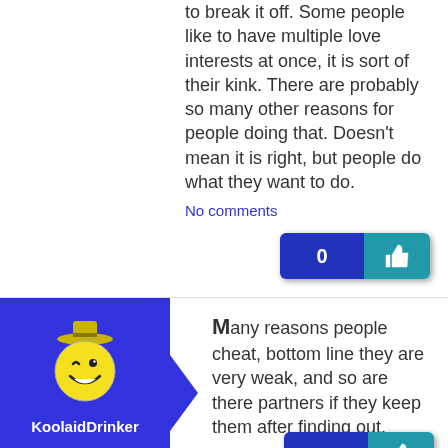to break it off. Some people like to have multiple love interests at once, it is sort of their kink. There are probably so many other reasons for people doing that. Doesn't mean it is right, but people do what they want to do.
No comments
[Figure (illustration): KoolaidDrinker avatar: cartoon Kool-Aid man mascot with winking face and hat on blue background with arrow pointer shape]
Many reasons people cheat, bottom line they are very weak, and so are there partners if they keep them after finding out.
No comments